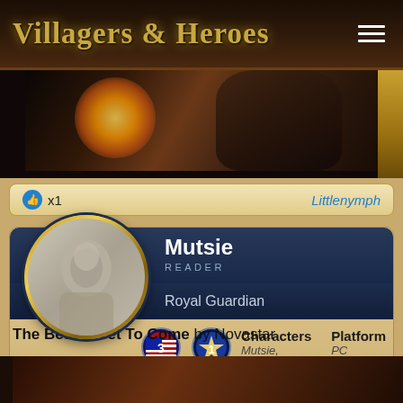Villagers & Heroes
[Figure (screenshot): Dark cinematic screenshot from Villagers & Heroes game showing a glowing light and a face in shadow]
x1   Littlenymph
Mutsie
READER
Royal Guardian
Characters   Platform
Mutsie, Unde...   PC
The Best Is Yet To Come by Novastar
[Figure (screenshot): Bottom portion of another screenshot from Villagers & Heroes]